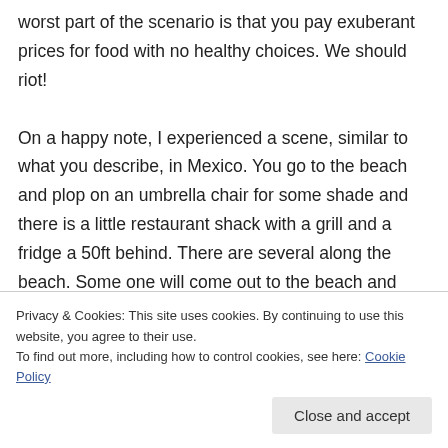worst part of the scenario is that you pay exuberant prices for food with no healthy choices. We should riot!

On a happy note, I experienced a scene, similar to what you describe, in Mexico. You go to the beach and plop on an umbrella chair for some shade and there is a little restaurant shack with a grill and a fridge a 50ft behind. There are several along the beach. Some one will come out to the beach and take your order and serve you on the
Privacy & Cookies: This site uses cookies. By continuing to use this website, you agree to their use.
To find out more, including how to control cookies, see here: Cookie Policy